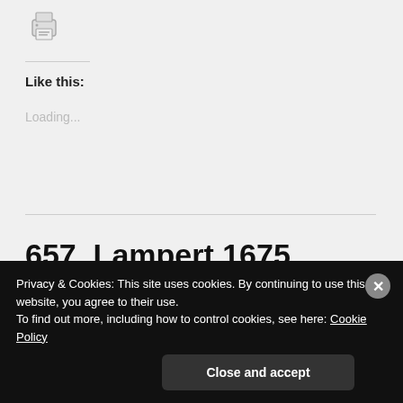[Figure (other): Printer icon button]
Like this:
Loading...
657. Lampert 1675 Edición Azul Short Balero
Privacy & Cookies: This site uses cookies. By continuing to use this website, you agree to their use.
To find out more, including how to control cookies, see here: Cookie Policy
Close and accept